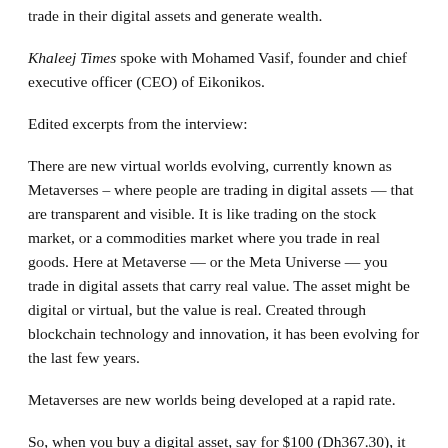trade in their digital assets and generate wealth.
Khaleej Times spoke with Mohamed Vasif, founder and chief executive officer (CEO) of Eikonikos.
Edited excerpts from the interview:
There are new virtual worlds evolving, currently known as Metaverses – where people are trading in digital assets — that are transparent and visible. It is like trading on the stock market, or a commodities market where you trade in real goods. Here at Metaverse — or the Meta Universe — you trade in digital assets that carry real value. The asset might be digital or virtual, but the value is real. Created through blockchain technology and innovation, it has been evolving for the last few years.
Metaverses are new worlds being developed at a rapid rate.
So, when you buy a digital asset, say for $100 (Dh367.30), it